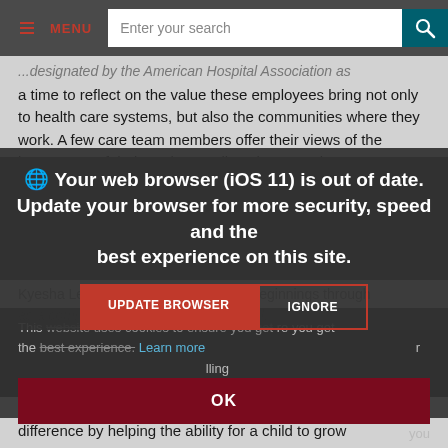MENU | Enter your search
a time to reflect on the value these employees bring not only to health care systems, but also the communities where they work. A few care team members offer their views of the importance of their work as well as the rewards.
Your web browser (iOS 11) is out of date. Update your browser for more security, speed and the best experience on this site.
UPDATE BROWSER | IGNORE
This website uses cookies to ensure you get the best experience. Learn more
OK
difference by helping the ability for a child to grow